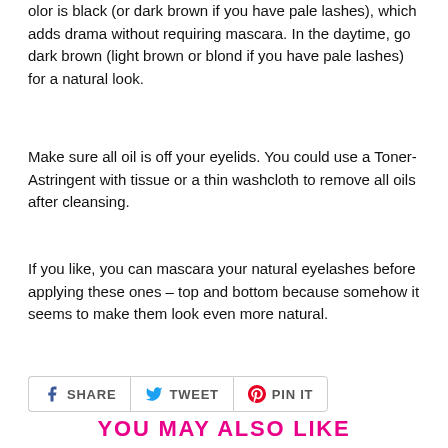olor is black (or dark brown if you have pale lashes), which adds drama without requiring mascara. In the daytime, go dark brown (light brown or blond if you have pale lashes) for a natural look.
Make sure all oil is off your eyelids. You could use a Toner-Astringent with tissue or a thin washcloth to remove all oils after cleansing.
If you like, you can mascara your natural eyelashes before applying these ones – top and bottom because somehow it seems to make them look even more natural.
[Figure (infographic): Social sharing buttons: Facebook SHARE, Twitter TWEET, Pinterest PIN IT]
YOU MAY ALSO LIKE